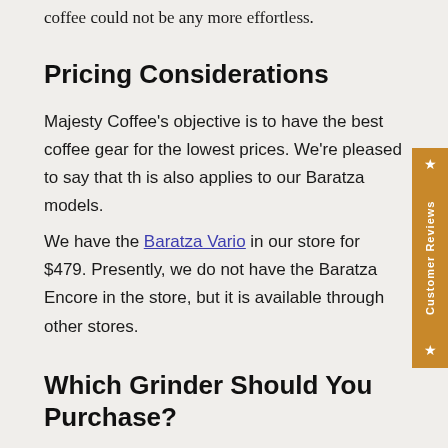coffee could not be any more effortless.
Pricing Considerations
Majesty Coffee's objective is to have the best coffee gear for the lowest prices. We're pleased to say that this also applies to our Baratza models.
We have the Baratza Vario in our store for $479. Presently, we do not have the Baratza Encore in the store, but it is available through other stores.
Which Grinder Should You Purchase?
The important question that remains to be answered is